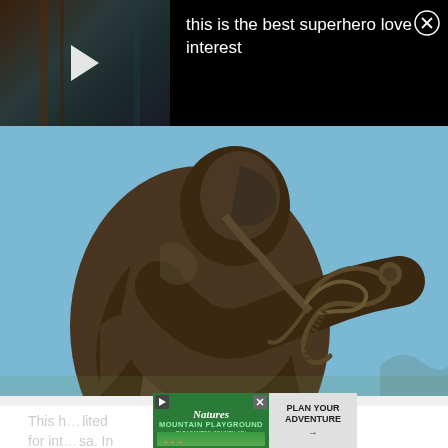[Figure (screenshot): Black top bar with video thumbnail on left showing play button, and text 'this is the best superhero love interest' on right with close X button]
[Figure (photo): Close-up photograph of a bronze statue of a robed figure holding an ornate sword with decorative guard, against a blue sky background]
This h... lited for int... sa. In
[Figure (screenshot): Advertisement banner: Nature's Mountain Playground / Pleasanton County, MN on green background with cycling scene photo, and 'PLAN YOUR ADVENTURE' on grey right side]